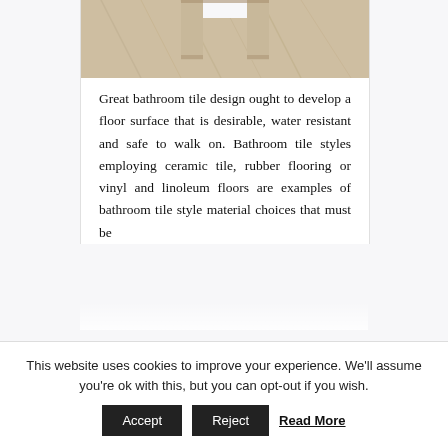[Figure (photo): Partial view of a tile or stone slab with beige/tan texture, shown from above with a bracket or frame shape visible at the top center.]
Great bathroom tile design ought to develop a floor surface that is desirable, water resistant and safe to walk on. Bathroom tile styles employing ceramic tile, rubber flooring or vinyl and linoleum floors are examples of bathroom tile style material choices that must be
This website uses cookies to improve your experience. We'll assume you're ok with this, but you can opt-out if you wish. [Accept] [Reject] Read More